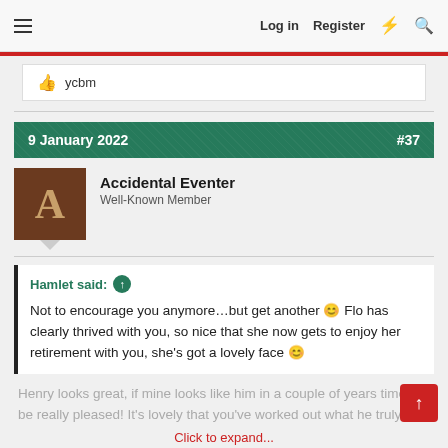Log in   Register
ycbm
9 January 2022  #37
Accidental Eventer
Well-Known Member
Hamlet said: ↑
Not to encourage you anymore…but get another 😊 Flo has clearly thrived with you, so nice that she now gets to enjoy her retirement with you, she's got a lovely face 😊
Henry looks great, if mine looks like him in a couple of years time I'll be really pleased! It's lovely that you've worked out what he truly
Click to expand...